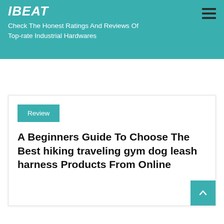Check The Honest Ratings And Reviews Of Top-rate Industrial Hardwares
Review
A Beginners Guide To Choose The Best hiking traveling gym dog leash harness Products From Online